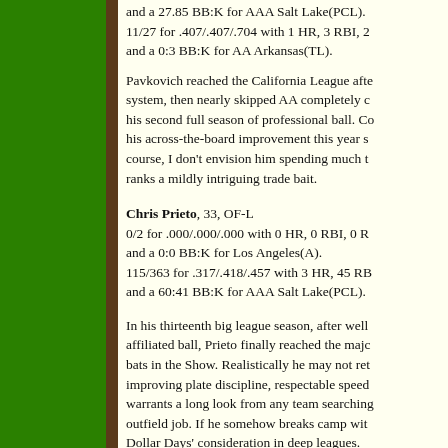and a 27.85 BB:K for AAA Salt Lake(PCL). 11/27 for .407/.407/.704 with 1 HR, 3 RBI, 2 and a 0:3 BB:K for AA Arkansas(TL).
Pavkovich reached the California League after system, then nearly skipped AA completely c his second full season of professional ball. Co his across-the-board improvement this year s course, I don't envision him spending much t ranks a mildly intriguing trade bait.
Chris Prieto, 33, OF-L
0/2 for .000/.000/.000 with 0 HR, 0 RBI, 0 R and a 0:0 BB:K for Los Angeles(A).
115/363 for .317/.418/.457 with 3 HR, 45 RB and a 60:41 BB:K for AAA Salt Lake(PCL).
In his thirteenth big league season, after well affiliated ball, Prieto finally reached the majo bats in the Show. Realistically he may not ret improving plate discipline, respectable speed warrants a long look from any team searching outfield job. If he somehow breaks camp with Dollar Days' consideration in deep leagues.